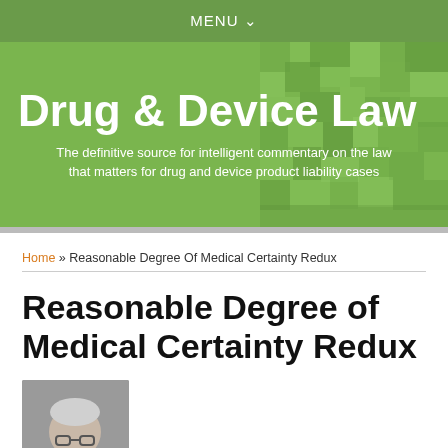MENU
Drug & Device Law
The definitive source for intelligent commentary on the law that matters for drug and device product liability cases
Home » Reasonable Degree Of Medical Certainty Redux
Reasonable Degree of Medical Certainty Redux
[Figure (photo): Author headshot photo of an older man with glasses and grey/white hair]